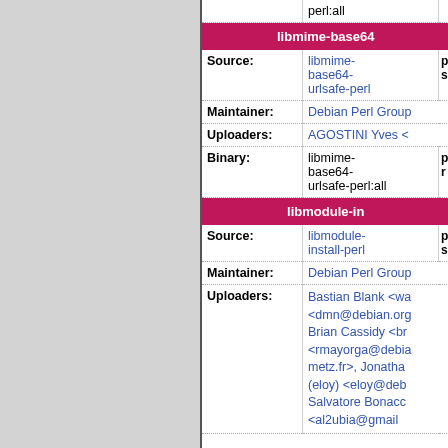| Field | Value | Extra |
| --- | --- | --- |
|  | perl:all |  |
| libmime-base64-urlsafe-perl (section header) |  |  |
| Source: | libmime-base64-urlsafe-perl | p s |
| Maintainer: | Debian Perl Group |  |
| Uploaders: | AGOSTINI Yves < |  |
| Binary: | libmime-base64-urlsafe-perl:all | p r |
| libmodule-in (section header) |  |  |
| Source: | libmodule-install-perl | p s |
| Maintainer: | Debian Perl Group |  |
| Uploaders: | Bastian Blank <wa <dmn@debian.org Brian Cassidy <br <rmayorga@debia metz.fr>, Jonatha (eloy) <eloy@deb Salvatore Bonacc <al2ubia@gmail |  |